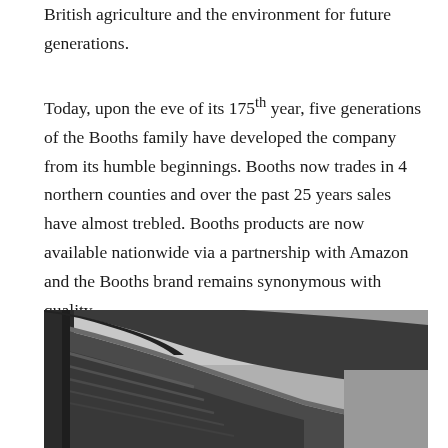British agriculture and the environment for future generations.
Today, upon the eve of its 175th year, five generations of the Booths family have developed the company from its humble beginnings. Booths now trades in 4 northern counties and over the past 25 years sales have almost trebled. Booths products are now available nationwide via a partnership with Amazon and the Booths brand remains synonymous with quality.
[Figure (photo): Black and white photograph of a store interior showing an escalator or staircase with curved metallic railings, viewed from below at an angle.]